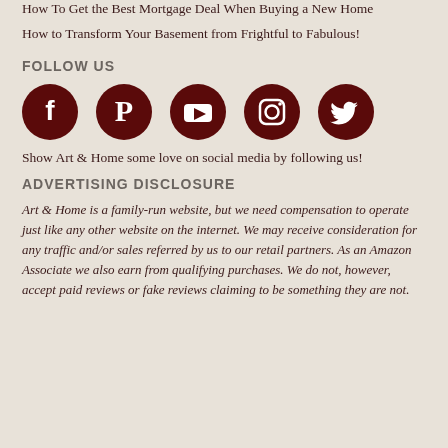How To Get the Best Mortgage Deal When Buying a New Home
How to Transform Your Basement from Frightful to Fabulous!
FOLLOW US
[Figure (illustration): Five social media icons in dark red circles: Facebook, Pinterest, YouTube, Instagram, Twitter]
Show Art & Home some love on social media by following us!
ADVERTISING DISCLOSURE
Art & Home is a family-run website, but we need compensation to operate just like any other website on the internet. We may receive consideration for any traffic and/or sales referred by us to our retail partners. As an Amazon Associate we also earn from qualifying purchases. We do not, however, accept paid reviews or fake reviews claiming to be something they are not.